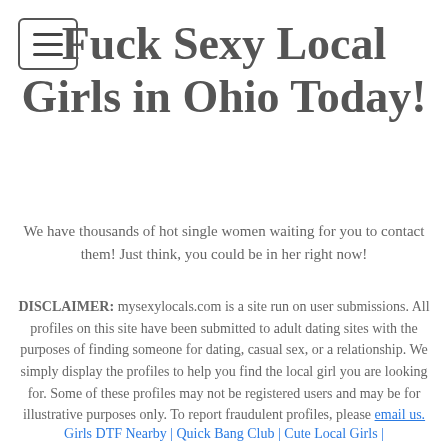Fuck Sexy Local Girls in Ohio Today!
We have thousands of hot single women waiting for you to contact them! Just think, you could be in her right now!
DISCLAIMER: mysexylocals.com is a site run on user submissions. All profiles on this site have been submitted to adult dating sites with the purposes of finding someone for dating, casual sex, or a relationship. We simply display the profiles to help you find the local girl you are looking for. Some of these profiles may not be registered users and may be for illustrative purposes only. To report fraudulent profiles, please email us.
Girls DTF Nearby | Quick Bang Club | Cute Local Girls |